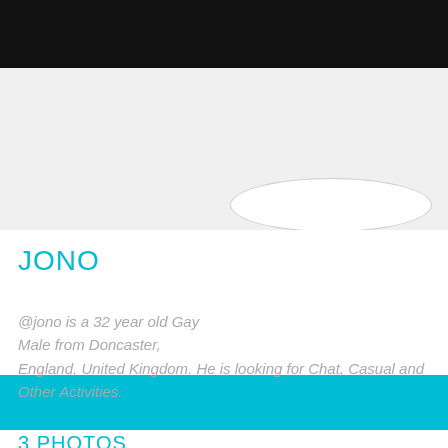[Figure (screenshot): Black navigation bar at top of mobile app screen]
[Figure (photo): Gray profile header area with a white oval/ellipse shape representing a profile photo placeholder]
JONO
@jono is a 32 year old Gay Male from Doncaster, England, United Kingdom. He is looking for Chat, Casual and Other Activities.
[Figure (other): Teal/cyan colored bar separator]
3 PHOTOS